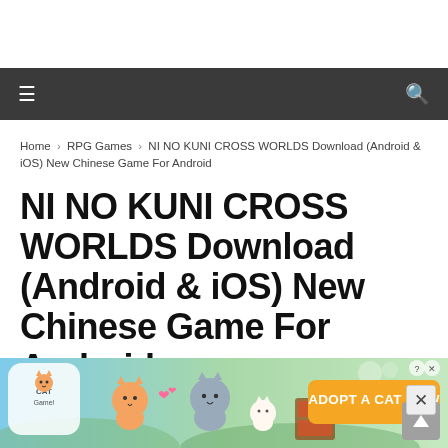Home > RPG Games > NI NO KUNI CROSS WORLDS Download (Android & iOS) New Chinese Game For Android
NI NO KUNI CROSS WORLDS Download (Android & iOS) New Chinese Game For Android
Self Gaming - 3:07 AM
[Figure (infographic): Advertisement banner for Cat Game showing cartoon cats with text ADOPT A CAT NOW]